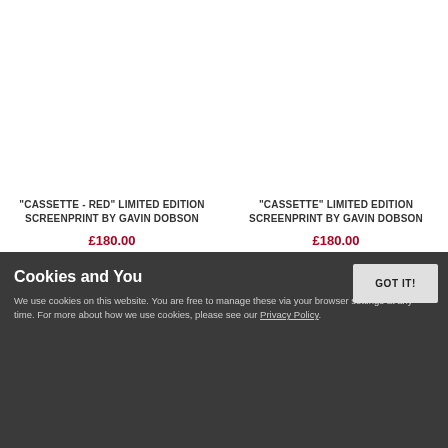"CASSETTE - RED" LIMITED EDITION SCREENPRINT BY GAVIN DOBSON
£180.00
"CASSETTE" LIMITED EDITION SCREENPRINT BY GAVIN DOBSON
£180.00
ADD TO BASKET
ADD TO BASKET
Cookies and You
We use cookies on this website. You are free to manage these via your browser settings at any time. For more about how we use cookies, please see our Privacy Policy.
GOT IT!